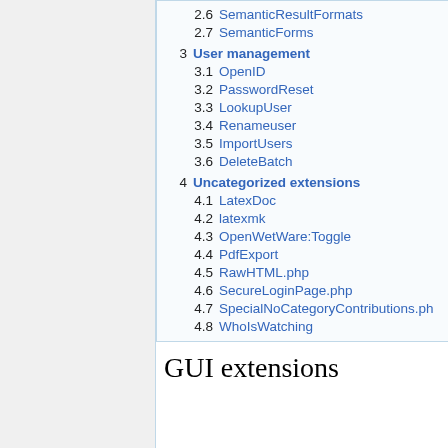2.6 SemanticResultFormats
2.7 SemanticForms
3 User management
3.1 OpenID
3.2 PasswordReset
3.3 LookupUser
3.4 Renameuser
3.5 ImportUsers
3.6 DeleteBatch
4 Uncategorized extensions
4.1 LatexDoc
4.2 latexmk
4.3 OpenWetWare:Toggle
4.4 PdfExport
4.5 RawHTML.php
4.6 SecureLoginPage.php
4.7 SpecialNoCategoryContributions.ph
4.8 WhoIsWatching
GUI extensions